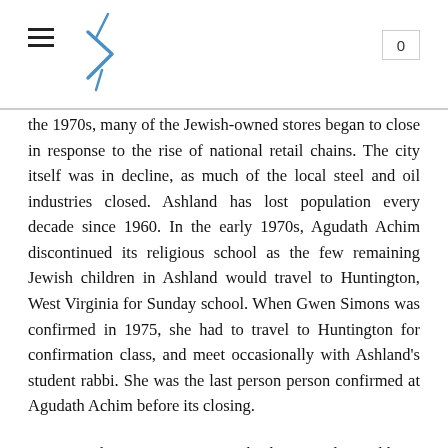0
the 1970s, many of the Jewish-owned stores began to close in response to the rise of national retail chains. The city itself was in decline, as much of the local steel and oil industries closed. Ashland has lost population every decade since 1960. In the early 1970s, Agudath Achim discontinued its religious school as the few remaining Jewish children in Ashland would travel to Huntington, West Virginia for Sunday school. When Gwen Simons was confirmed in 1975, she had to travel to Huntington for confirmation class, and meet occasionally with Ashland's student rabbi. She was the last person person confirmed at Agudath Achim before its closing.
In 1977, the congregation cut back its student rabbinic visits to only once a month. Attendance at Friday night